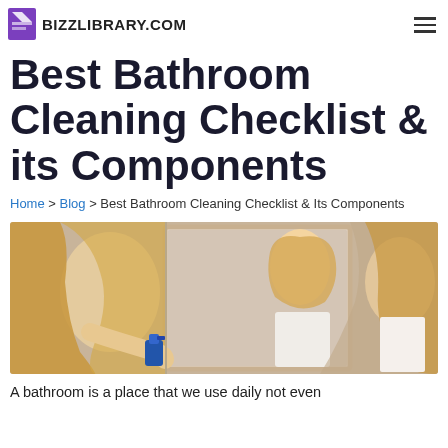BIZZLIBRARY.COM
Best Bathroom Cleaning Checklist & its Components
Home > Blog > Best Bathroom Cleaning Checklist & Its Components
[Figure (photo): A blonde woman cleaning a bathroom mirror with a spray bottle, smiling at her reflection.]
A bathroom is a place that we use daily not even